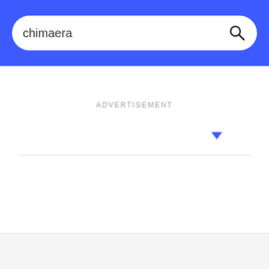[Figure (screenshot): Search bar with blue background showing search input with text 'chimaera' and a magnifying glass search icon]
ADVERTISEMENT